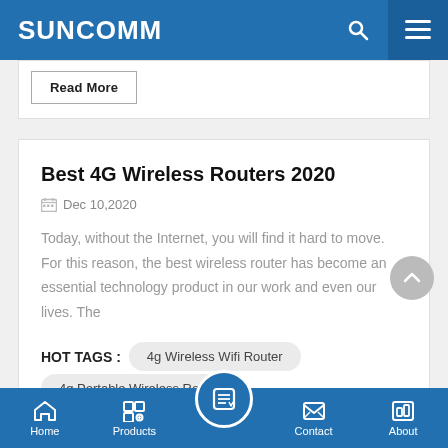SUNCOMM
Read More
Best 4G Wireless Routers 2020
Dec 10,2020
Today, without the Internet, you will find it hard to move. For this reason, the best wireless router has become an essential technology product in our work and even our lives. The
HOT TAGS :  4g Wireless Wifi Router  4g Portable Wireless Router
Home  Products  Contact  About